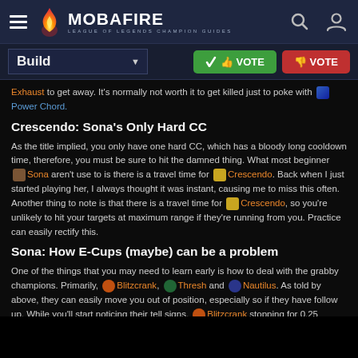MOBAFIRE - LEAGUE OF LEGENDS CHAMPION GUIDES
Build [dropdown] VOTE VOTE
Exhaust to get away. It's normally not worth it to get killed just to poke with [Power Chord icon] Power Chord.
Crescendo: Sona's Only Hard CC
As the title implied, you only have one hard CC, which has a bloody long cooldown time, therefore, you must be sure to hit the damned thing. What most beginner [Sona icon] Sona aren't use to is there is a travel time for [Crescendo icon] Crescendo. Back when I just started playing her, I always thought it was instant, causing me to miss this often. Another thing to note is that there is a travel time for [Crescendo icon] Crescendo, so you're unlikely to hit your targets at maximum range if they're running from you. Practice can easily rectify this.
Sona: How E-Cups (maybe) can be a problem
One of the things that you may need to learn early is how to deal with the grabby champions. Primarily, [Blitzcrank icon] Blitzcrank, [Thresh icon] Thresh and [Nautilus icon] Nautilus. As told by above, they can easily move you out of position, especially so if they have follow up. While you'll start noticing their tell signs, [Blitzcrank icon] Blitzcrank stopping for 0.25 seconds to fire his [Rocket Grab icon] Rocket Grab and [Thresh icon] Thresh's wind-